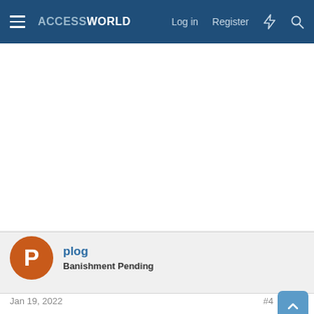ACCESSWORLD  Log in  Register
[Figure (screenshot): White blank advertisement or content area]
plog
Banishment Pending
Jan 19, 2022   #4
A sample demonstrating your issue woud help. Without that I would suggest using double quotes on the outside and single quotes on the inside...